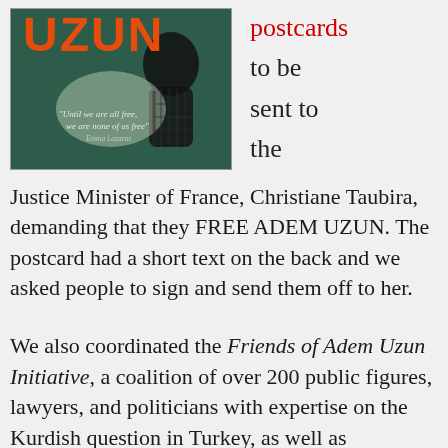[Figure (illustration): Book cover for 'Uzun' with orange title text, a silhouetted figure against a dark teal/green background, and a quote: 'Until we are all free, we are none of us free' attributed to Emma Lazarus]
postcards to be sent to the Justice Minister of France, Christiane Taubira, demanding that they FREE ADEM UZUN. The postcard had a short text on the back and we asked people to sign and send them off to her.
We also coordinated the Friends of Adem Uzun Initiative, a coalition of over 200 public figures, lawyers, and politicians with expertise on the Kurdish question in Turkey, as well as community activists, grassroots campaigners, and trade unionists. The Friends was established to support